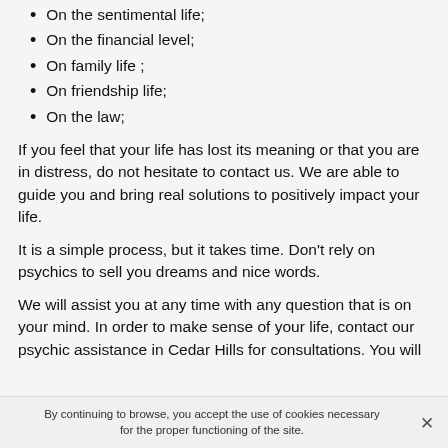On the sentimental life;
On the financial level;
On family life ;
On friendship life;
On the law;
If you feel that your life has lost its meaning or that you are in distress, do not hesitate to contact us. We are able to guide you and bring real solutions to positively impact your life.
It is a simple process, but it takes time. Don't rely on psychics to sell you dreams and nice words.
We will assist you at any time with any question that is on your mind. In order to make sense of your life, contact our psychic assistance in Cedar Hills for consultations. You will
By continuing to browse, you accept the use of cookies necessary for the proper functioning of the site.